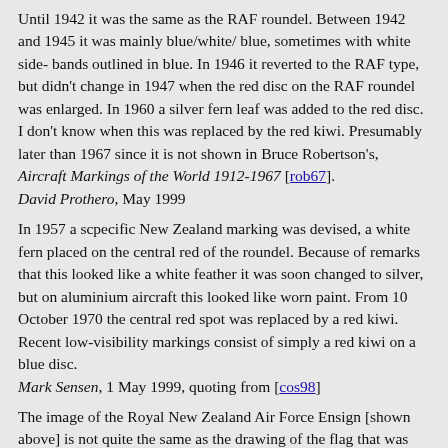Until 1942 it was the same as the RAF roundel. Between 1942 and 1945 it was mainly blue/white/ blue, sometimes with white sidebands outlined in blue. In 1946 it reverted to the RAF type, but didn't change in 1947 when the red disc on the RAF roundel was enlarged. In 1960 a silver fern leaf was added to the red disc. I don't know when this was replaced by the red kiwi. Presumably later than 1967 since it is not shown in Bruce Robertson's, Aircraft Markings of the World 1912-1967 [rob67]. David Prothero, May 1999
In 1957 a scpecific New Zealand marking was devised, a white fern placed on the central red of the roundel. Because of remarks that this looked like a white feather it was soon changed to silver, but on aluminium aircraft this looked like worn paint. From 10 October 1970 the central red spot was replaced by a red kiwi. Recent low-visibility markings consist of simply a red kiwi on a blue disc. Mark Sensen, 1 May 1999, quoting from [cos98]
The image of the Royal New Zealand Air Force Ensign [shown above] is not quite the same as the drawing of the flag that was submitted for approval in August 1939. There is a square full stop (period), as wide as the strokes of the letters, after the N and after the Z. The letters are still as large as possible within the red roundel and thus elongated and noticeably taller than they are